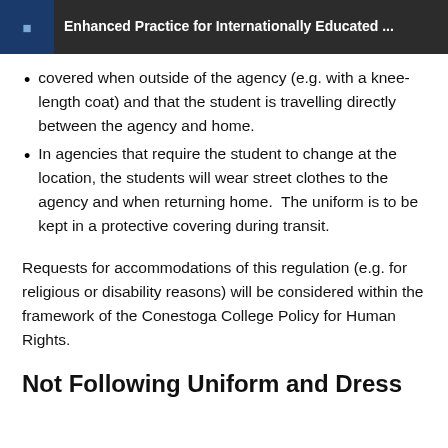Enhanced Practice for Internationally Educated ...
covered when outside of the agency (e.g. with a knee-length coat) and that the student is travelling directly between the agency and home.
In agencies that require the student to change at the location, the students will wear street clothes to the agency and when returning home.  The uniform is to be kept in a protective covering during transit.
Requests for accommodations of this regulation (e.g. for religious or disability reasons) will be considered within the framework of the Conestoga College Policy for Human Rights.
Not Following Uniform and Dress